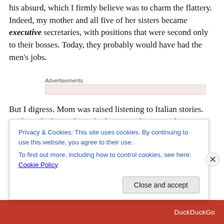his absurd, which I firmly believe was to charm the flattery. Indeed, my mother and all five of her sisters became executive secretaries, with positions that were second only to their bosses. Today, they probably would have had the men's jobs.
Advertisements
But I digress. Mom was raised listening to Italian stories. And so, she learned standard nursery rhymes with us… mostly me. I was the one who wanted to be constantly
Privacy & Cookies: This site uses cookies. By continuing to use this website, you agree to their use.
To find out more, including how to control cookies, see here: Cookie Policy
Close and accept
DuckDuckGo